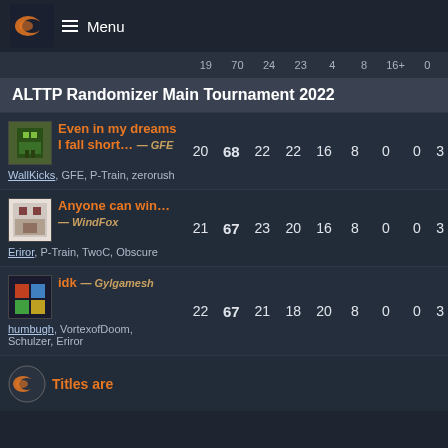Menu
ALTTP Randomizer Main Tournament 2022
| Team |  | 68 | 22 | 22 | 16 | 8 | 0 | 0 | 3 |
| --- | --- | --- | --- | --- | --- | --- | --- | --- | --- |
| Even in my dreams I fall short… — GFE / WallKicks, GFE, P-Train, zerorush | 20 | 68 | 22 | 22 | 16 | 8 | 0 | 0 | 3 |
| Anyone can win… — WindFox / Eriror, P-Train, TwoC, Obscure | 21 | 67 | 23 | 20 | 16 | 8 | 0 | 0 | 3 |
| idk — Gylgamesh / humbugh, VortexofDoom, Schulzer, Eriror | 22 | 67 | 21 | 18 | 20 | 8 | 0 | 0 | 3 |
Titles are